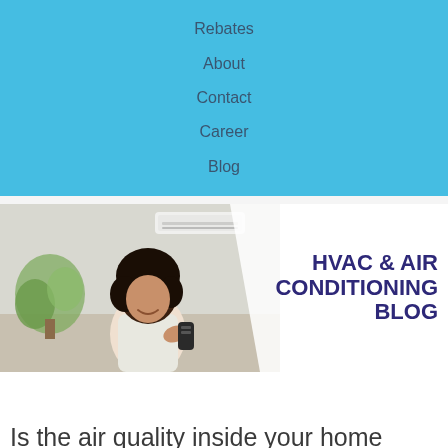Rebates
About
Contact
Career
Blog
[Figure (photo): Woman sitting and smiling while holding a remote control near a wall-mounted mini-split air conditioner unit, with a plant in the background]
HVAC & AIR CONDITIONING BLOG
Is the air quality inside your home